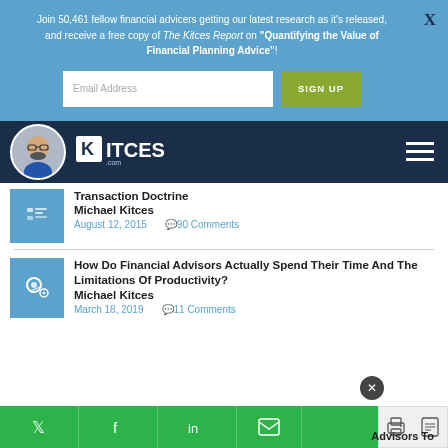Join 50,461 fellow financial advicers getting our latest research as it's released, and receive a free copy of The Kitces Report on "Quantifying the Value of Financial Planning Advice"!
[Figure (screenshot): Email address input field and SIGN UP button on blue background]
[Figure (logo): Kitces.com logo with avatar on dark navy navigation bar with hamburger menu]
Transaction Doctrine
Michael Kitces
August 12, 2015    90 Comments
How Do Financial Advisors Actually Spend Their Time And The Limitations Of Productivity?
Michael Kitces
March 18, 2019    11 Comments
[Figure (screenshot): Social sharing bar with Twitter, Facebook, LinkedIn, email, print, and PDF icons. Close button overlay. 'Advisors To' text visible at bottom right.]